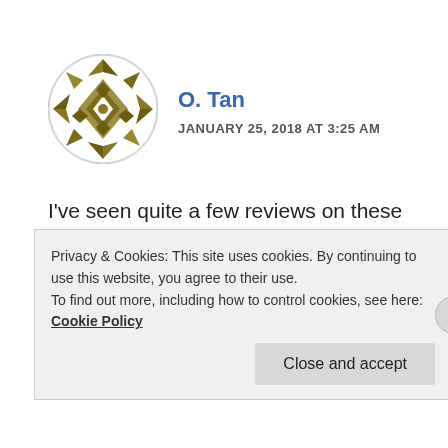[Figure (illustration): Circular avatar with a decorative geometric star/cross pattern in olive/brown tones on white background]
O. Tan
JANUARY 25, 2018 AT 3:25 AM
I've seen quite a few reviews on these bibs and generally positive. Though I see some people commenting that the pads are great but other than that, bib material is nothing special and can't compare to Assos and the like? Since
Privacy & Cookies: This site uses cookies. By continuing to use this website, you agree to their use.
To find out more, including how to control cookies, see here: Cookie Policy
Close and accept